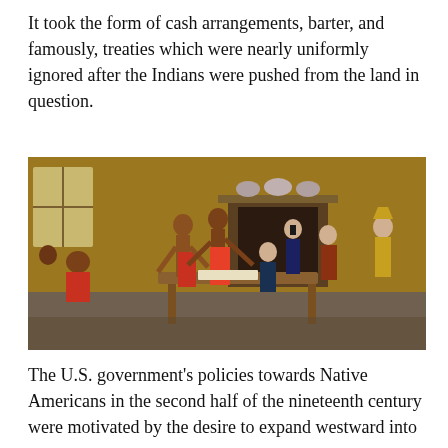It took the form of cash arrangements, barter, and famously, treaties which were nearly uniformly ignored after the Indians were pushed from the land in question.
[Figure (illustration): Historical painting depicting a treaty negotiation scene between Native Americans and European colonists/settlers inside a room. Two shirtless Native Americans stand at a table, one extending a hand toward seated European men in period clothing. Several other figures are visible in the background around a fireplace.]
The U.S. government's policies towards Native Americans in the second half of the nineteenth century were motivated by the desire to expand westward into